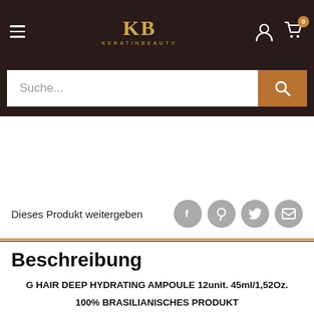KB KERATINBEAUTY
Suche...
Dieses Produkt weitergeben
Beschreibung
G HAIR DEEP HYDRATING AMPOULE 12unit. 45ml/1,52Oz.
100% BRASILIANISCHES PRODUKT
KOSTENLOSER VERSAND WELTWEIT